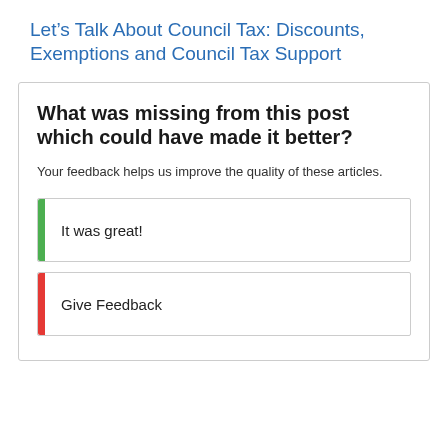Let’s Talk About Council Tax: Discounts, Exemptions and Council Tax Support
What was missing from this post which could have made it better?
Your feedback helps us improve the quality of these articles.
It was great!
Give Feedback